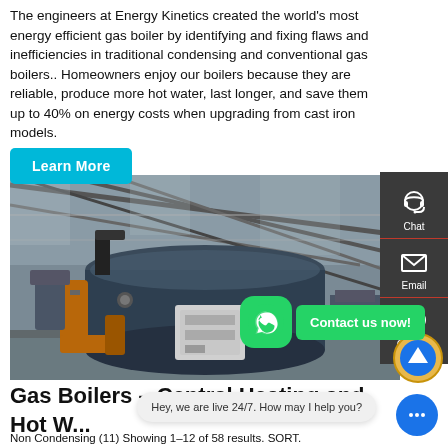The engineers at Energy Kinetics created the world's most energy efficient gas boiler by identifying and fixing flaws and inefficiencies in traditional condensing and conventional gas boilers.. Homeowners enjoy our boilers because they are reliable, produce more hot water, last longer, and save them up to 40% on energy costs when upgrading from cast iron models.
Learn More
[Figure (photo): Industrial gas boiler installed in a large warehouse/factory space with metal roof structure visible, large cylindrical blue boiler tank with associated equipment and piping]
Chat
Email
Contact
Contact us now!
Gas Boilers – Central Heating and Hot W...
Non Condensing (11) Showing 1–12 of 58 results. SORT.
Hey, we are live 24/7. How may I help you?